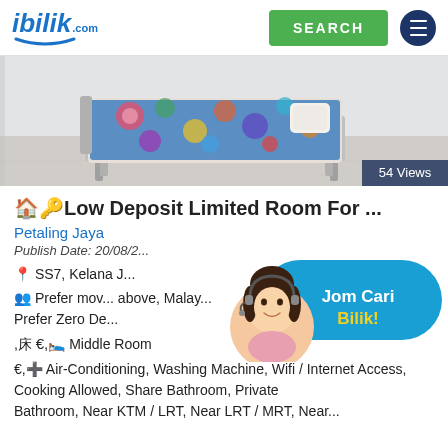ibilik.com | SEARCH
[Figure (photo): Photo of a single bed with colorful floral bedsheet in a room with white walls and tiled floor. Badge overlay reads '54 Views'.]
🏠🔑Low Deposit Limited Room For ...
Petaling Jaya
Publish Date: 20/08/2...
📍 SS7, Kelana J...
👥 Prefer mov... above, Malay... Prefer Zero De...
🛏 Middle Room
➕ Air-Conditioning, Washing Machine, Wifi / Internet Access, Cooking Allowed, Share Bathroom, Private Bathroom, Near KTM / LRT, Near LRT / MRT, Near...
[Figure (illustration): Promotional overlay banner showing a woman with headset and text 'Jom Cari Bilik!' in white and yellow on a blue pill-shaped background.]